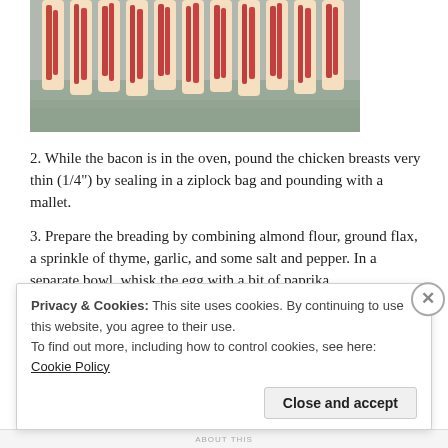[Figure (photo): Photo of raw bacon strips laid out on aluminum foil in a baking pan, viewed from above.]
2. While the bacon is in the oven, pound the chicken breasts very thin (1/4") by sealing in a ziplock bag and pounding with a mallet.
3. Prepare the breading by combining almond flour, ground flax, a sprinkle of thyme, garlic, and some salt and pepper. In a separate bowl, whisk the egg with a bit of paprika.
4. Place spinach leaves on the chicken breast, followed by bacon slices, then shredded cheese. Roll the chicken and fasten with toothpicks. This i
Privacy & Cookies: This site uses cookies. By continuing to use this website, you agree to their use.
To find out more, including how to control cookies, see here: Cookie Policy
Close and accept